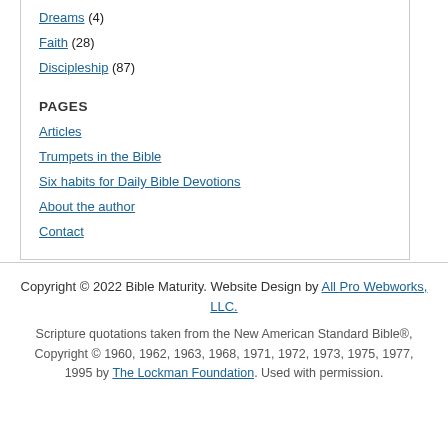Dreams (4)
Faith (28)
Discipleship (87)
PAGES
Articles
Trumpets in the Bible
Six habits for Daily Bible Devotions
About the author
Contact
Copyright © 2022 Bible Maturity. Website Design by All Pro Webworks, LLC.
Scripture quotations taken from the New American Standard Bible®, Copyright © 1960, 1962, 1963, 1968, 1971, 1972, 1973, 1975, 1977, 1995 by The Lockman Foundation. Used with permission.